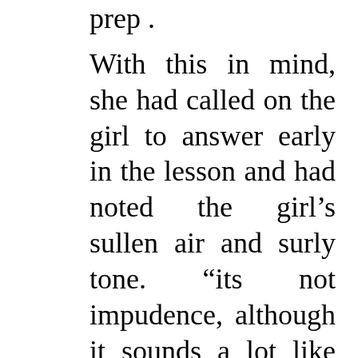prep .
With this in mind, she had called on the girl to answer early in the lesson and had noted the girl’s sullen air and surly tone. “its not impudence, although it sounds a lot like it” thought Len, worriedly, “she sounds unhappy.”